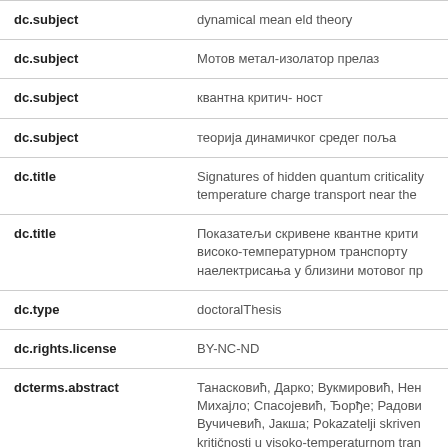| Field | Value |
| --- | --- |
| dc.subject | dynamical mean eld theory |
| dc.subject | Мотов метал-изолатор прелаз |
| dc.subject | квантна критич- ност |
| dc.subject | теорија динамичког средег поља |
| dc.title | Signatures of hidden quantum criticality temperature charge transport near the |
| dc.title | Показатељи скривене квантне крити високо-температурном транспорту наелектрисања у близини мотовог пр |
| dc.type | doctoralThesis |
| dc.rights.license | BY-NC-ND |
| dcterms.abstract | Танасковић, Дарко; Вукмировић, Нен Михајло; Спасојевић, Ђорђе; Радови Вучичевић, Јакша; Pokazatelji skriven kritičnosti u visoko-temperaturnom tran naelektrisanja u blizini motovog prelaza |
| dc.identifier.fulltext | https://nardus.mpn.gov.rs/bitstream/id/... |